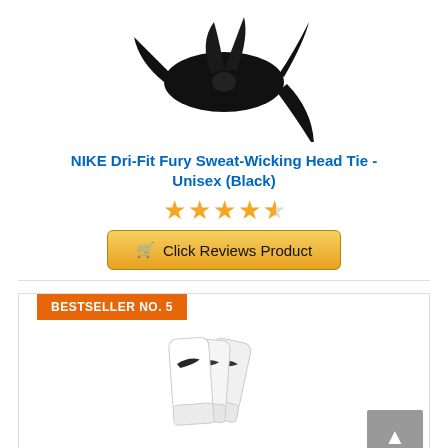[Figure (photo): Black Nike Dri-Fit Fury head tie/bandana with knot, shown from above on white background]
NIKE Dri-Fit Fury Sweat-Wicking Head Tie - Unisex (Black)
[Figure (other): 4.5 out of 5 stars rating shown with gold star icons]
Click Reviews Product
BESTSELLER NO. 5
[Figure (photo): Three pairs of white Nike crew socks with black swoosh logo, fanned out on white background]